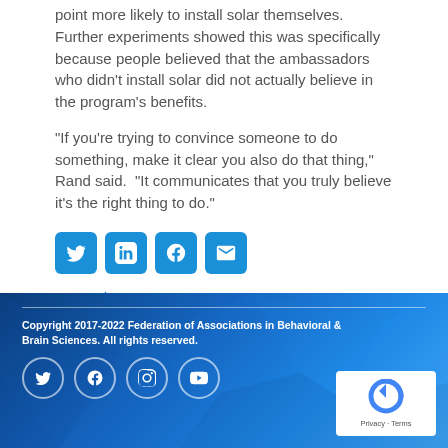point more likely to install solar themselves. Further experiments showed this was specifically because people believed that the ambassadors who didn't install solar did not actually believe in the program's benefits.
"If you're trying to convince someone to do something, make it clear you also do that thing," Rand said. "It communicates that you truly believe it's the right thing to do."
[Figure (other): Social share buttons: Twitter, LinkedIn, Facebook, Email]
<< Previous    Next >>
View All Articles
Copyright 2017-2022 Federation of Associations in Behavioral & Brain Sciences. All rights reserved.